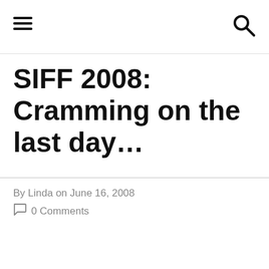SIFF 2008: Cramming on the last day…
By Linda on June 16, 2008
0 Comments